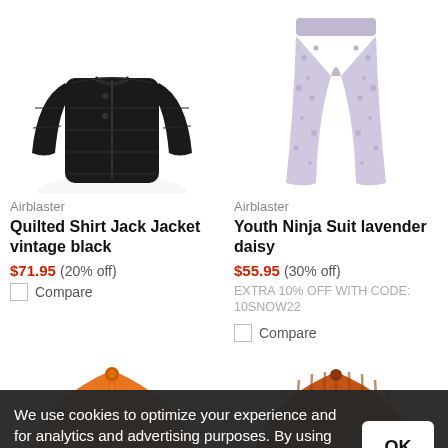[Figure (photo): Black quilted shirt jacket product photo on white background]
Airblaster
Quilted Shirt Jack Jacket vintage black
$71.95 (20% off)
Compare
[Figure (photo): Lavender daisy print youth ninja suit leggings product photo on white background]
Airblaster
Youth Ninja Suit lavender daisy
$55.95 (30% off)
EXTRA 10% OFF WITH CODE: 10SNOW22
Compare
[Figure (photo): Bright orange knit beanie hat product photo]
[Figure (photo): Dark orange/rust ribbed knit beanie hat product photo]
We use cookies to optimize your experience and for analytics and advertising purposes. By using this site, you agree to our use of cookies and privacy policy.